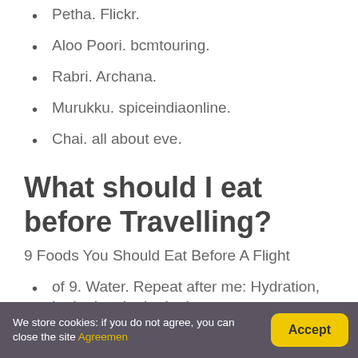Petha. Flickr.
Aloo Poori. bcmtouring.
Rabri. Archana.
Murukku. spiceindiaonline.
Chai. all about eve.
What should I eat before Travelling?
9 Foods You Should Eat Before A Flight
of 9. Water. Repeat after me: Hydration, hydration, hydration!
of 9. Oranges.
of 9. Herbal Tea.
We store cookies: if you do not agree, you can close the site Agreemen